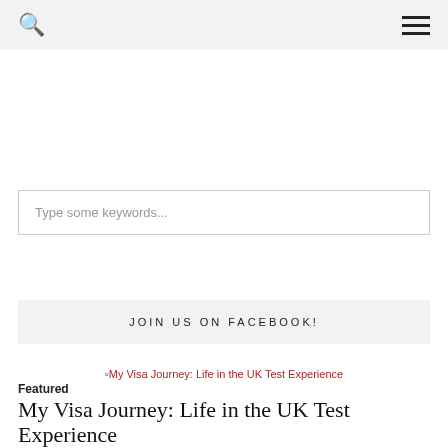Search | Menu
Type some keywords...
JOIN US ON FACEBOOK!
[Figure (illustration): Broken image placeholder for 'My Visa Journey: Life in the UK Test Experience']
Featured
My Visa Journey: Life in the UK Test Experience
One of the requirements for ILR or permanent residency is to pass